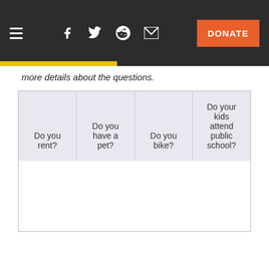Navigation bar with hamburger menu, social icons (Facebook, Twitter, Reddit, Email), and DONATE button
more details about the questions.
| Do you rent? | Do you have a pet? | Do you bike? | Do your kids attend public school? |
| --- | --- | --- | --- |